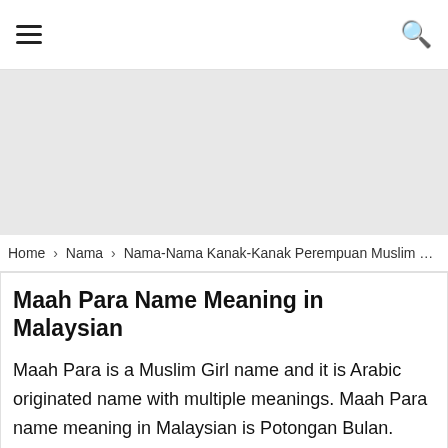☰  🔍
[Figure (other): Advertisement banner placeholder, light grey background]
Home › Nama › Nama-Nama Kanak-Kanak Perempuan Muslim › Maah …
Maah Para Name Meaning in Malaysian
Maah Para is a Muslim Girl name and it is Arabic originated name with multiple meanings. Maah Para name meaning in Malaysian is Potongan Bulan. Maah Para name meaning in